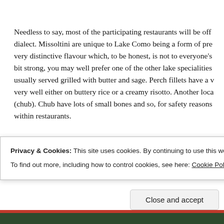Needless to say, most of the participating restaurants will be offering missoltini, which is a dialect. Missoltini are unique to Lake Como being a form of preserved fish with a very distinctive flavour which, to be honest, is not to everyone's taste. If you find the taste a bit strong, you may well prefer one of the other lake specialities such as perch, which is usually served grilled with butter and sage. Perch fillets have a very delicate flavour and go very well either on buttery rice or a creamy risotto. Another local fish is agone or cavedano (chub). Chub have lots of small bones and so, for safety reasons, are rarely served within restaurants.
Privacy & Cookies: This site uses cookies. By continuing to use this website, you agree to their use.
To find out more, including how to control cookies, see here: Cookie Policy